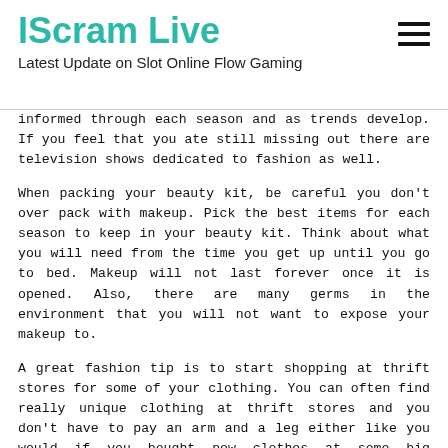IScram Live
Latest Update on Slot Online Flow Gaming
informed through each season and as trends develop. If you feel that you ate still missing out there are television shows dedicated to fashion as well.
When packing your beauty kit, be careful you don't over pack with makeup. Pick the best items for each season to keep in your beauty kit. Think about what you will need from the time you get up until you go to bed. Makeup will not last forever once it is opened. Also, there are many germs in the environment that you will not want to expose your makeup to.
A great fashion tip is to start shopping at thrift stores for some of your clothing. You can often find really unique clothing at thrift stores and you don't have to pay an arm and a leg either like you would if you bought new clothes at some big department store.
Use many colors when creating an outfit. You do not want every piece to match perfectly, that is not the point of